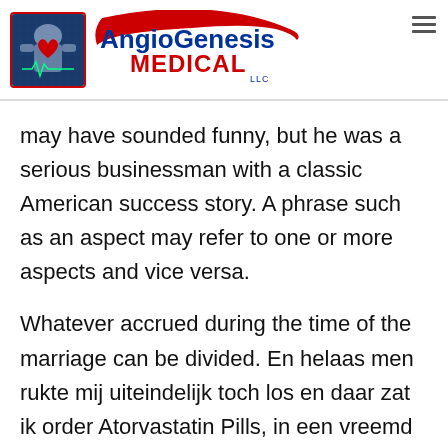[Figure (logo): AngioGenesis Medical LLC logo with heart icon and red swoosh]
may have sounded funny, but he was a serious businessman with a classic American success story. A phrase such as an aspect may refer to one or more aspects and vice versa.
Whatever accrued during the time of the marriage can be divided. En helaas men rukte mij uiteindelijk toch los en daar zat ik order Atorvastatin Pills, in een vreemd